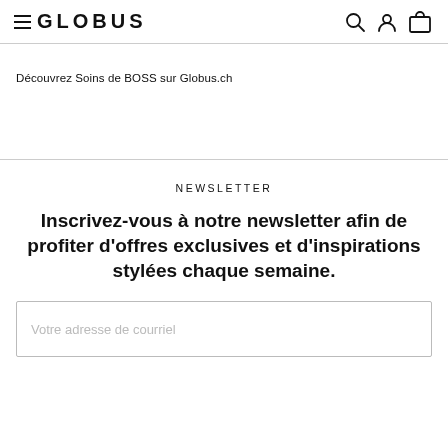≡ GLOBUS
Découvrez Soins de BOSS sur Globus.ch
NEWSLETTER
Inscrivez-vous à notre newsletter afin de profiter d'offres exclusives et d'inspirations stylées chaque semaine.
Votre adresse de courriel